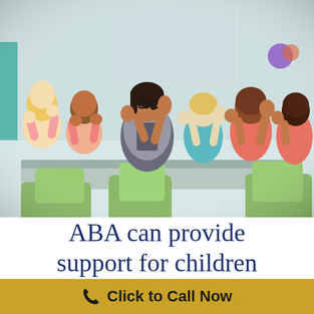[Figure (photo): A female teacher with glasses and dark hair sits at a table with a group of young children of diverse backgrounds in a classroom setting. Everyone has their hands raised, engaged in a learning activity. The children are wearing colorful clothing. Green chairs are visible in the foreground. Classroom toys and decorations are visible in the background.]
ABA can provide support for children
Click to Call Now